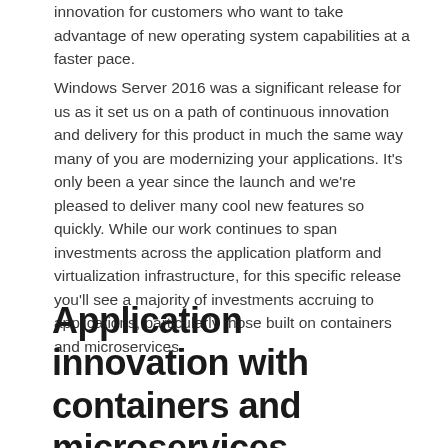innovation for customers who want to take advantage of new operating system capabilities at a faster pace.
Windows Server 2016 was a significant release for us as it set us on a path of continuous innovation and delivery for this product in much the same way many of you are modernizing your applications. It's only been a year since the launch and we're pleased to deliver many cool new features so quickly. While our work continues to span investments across the application platform and virtualization infrastructure, for this specific release you'll see a majority of investments accruing to applications, particularly those built on containers and microservices.
Application innovation with containers and microservices